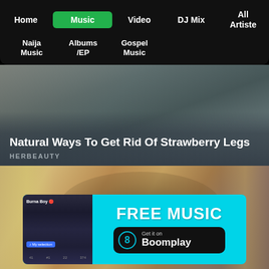Home | Music | Video | DJ Mix | All Artiste | Naija Music | Albums/EP | Gospel Music
[Figure (screenshot): Advertisement image for 'Natural Ways To Get Rid Of Strawberry Legs' from HERBEAUTY, showing a close-up of a hand and wooden stick against a teal surface]
Natural Ways To Get Rid Of Strawberry Legs
HERBEAUTY
[Figure (screenshot): Close-up photo of a blonde woman's eyes with heavy makeup, overlaid with a Boomplay advertisement banner showing FREE MUSIC Get it on Boomplay with a Burna Boy app screenshot]
FREE MUSIC
Get it on Boomplay